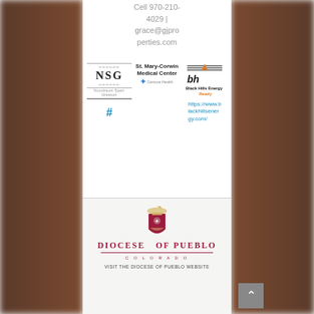Cell 970-210-4029 | grace@gjproperties.com
[Figure (logo): NSG Nussbaum Speir Gleason logo with horizontal lines and hash symbol]
[Figure (logo): St. Mary-Corwin Medical Center - Centura Health logo]
[Figure (logo): Black Hills Energy Ready logo with link https://www.blackhillsenergy.com/]
https://www.blackhillsenergy.com/
[Figure (logo): Diocese of Pueblo Colorado logo with shield emblem]
VISIT THE DIOCESE OF PUEBLO WEBSITE